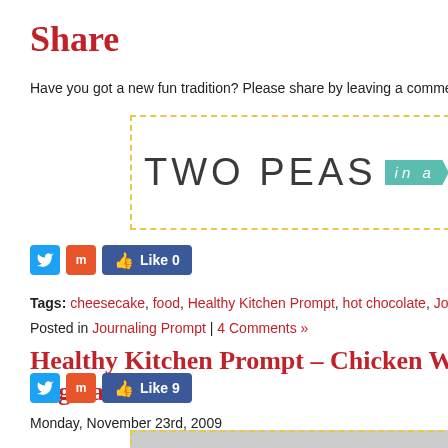Share
Have you got a new fun tradition? Please share by leaving a comment he
[Figure (logo): Two Peas in a Bu... logo with dashed yellow border, teal arrow badge reading 'in a']
[Figure (other): Social share buttons: Twitter, Mix, Facebook Like 0]
Tags: cheesecake, food, Healthy Kitchen Prompt, hot chocolate, Journali
Posted in Journaling Prompt | 4 Comments »
Healthy Kitchen Prompt – Chicken Wi Vegetables
Monday, November 23rd, 2009
[Figure (other): Social share buttons: Twitter, Mix, Facebook Like 9]
[Figure (photo): Partially visible image below the second article title]